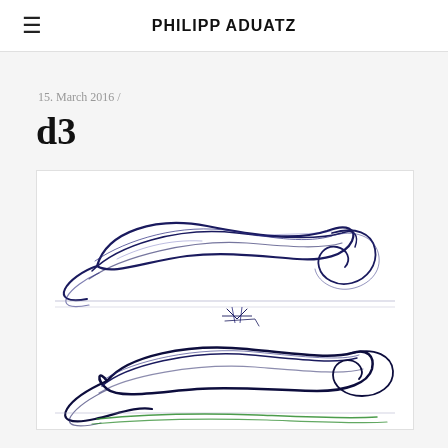PHILIPP ADUATZ
15. March 2016 /
d3
[Figure (illustration): Architectural or furniture design sketch drawn in ballpoint pen on white paper. Shows fluid, organic flowing forms suggesting a furniture piece or sculptural object viewed from the side. The sketch has two main looping forms with dynamic curving lines in dark blue/navy ink, with some green lines at the bottom suggesting a ground plane.]